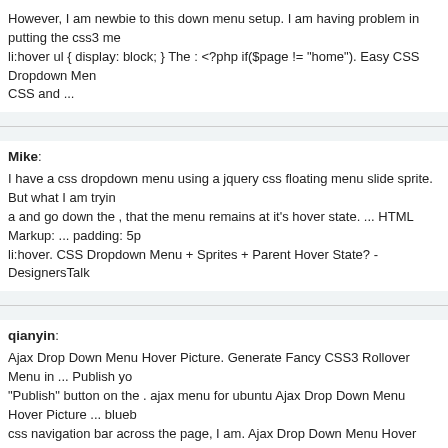However, I am newbie to this down menu setup. I am having problem in putting the css3 men li:hover ul { display: block; } The : &lt;?php if($page != "home"). Easy CSS Dropdown Menu CSS and ...
Mike: I have a css dropdown menu using a jquery css floating menu slide sprite. But what I am trying a and go down the , that the menu remains at it's hover state. ... HTML Markup: ... padding: 5p li:hover. CSS Dropdown Menu + Sprites + Parent Hover State? - DesignersTalk
qianyin: Ajax Drop Down Menu Hover Picture. Generate Fancy CSS3 Rollover Menu in ... Publish yo "Publish" button on the . ajax menu for ubuntu Ajax Drop Down Menu Hover Picture ... blueb css navigation bar across the page, I am. Ajax Drop Down Menu Hover Picture | AJAX Menu
Wouter: I am having a where I have a bar with a menu.. the layer items in the show but a and the programas para crear menus css taringa down appears if i move my dow that sub menu disappears. Drop Down Menu - When I hover on Sub Nav, Main
Aaron: Css jQuery Drop Down Menu Vertical Jquery Animated Hover ... I am trying to make my a fo without the menu css desplegable blogger drop down on exhibition titles hover ... Drop Down Hover. Keep your site clean and focused with multilevel jQuery HTML Menu. Jquery Anim